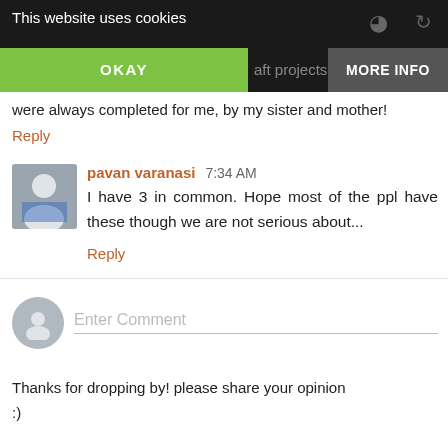This website uses cookies
OKAY    MORE INFO
aft projects also benefit me coz they were always completed for me, by my sister and mother!
Reply
pavan varanasi  7:34 AM
I have 3 in common. Hope most of the ppl have these though we are not serious about...
Reply
Enter Comment
Thanks for dropping by! please share your opinion
:)